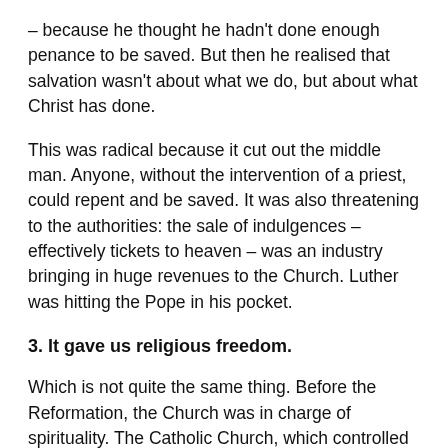– because he thought he hadn't done enough penance to be saved. But then he realised that salvation wasn't about what we do, but about what Christ has done.
This was radical because it cut out the middle man. Anyone, without the intervention of a priest, could repent and be saved. It was also threatening to the authorities: the sale of indulgences – effectively tickets to heaven – was an industry bringing in huge revenues to the Church. Luther was hitting the Pope in his pocket.
3. It gave us religious freedom.
Which is not quite the same thing. Before the Reformation, the Church was in charge of spirituality. The Catholic Church, which controlled religion in the West, defined right and wrong theology. It exercised political power through Catholic rulers who all acknowledged – grudgingly, in quite a few cases – that the Pope had some kind of authority over them. After the Reformation, that changed, though it took